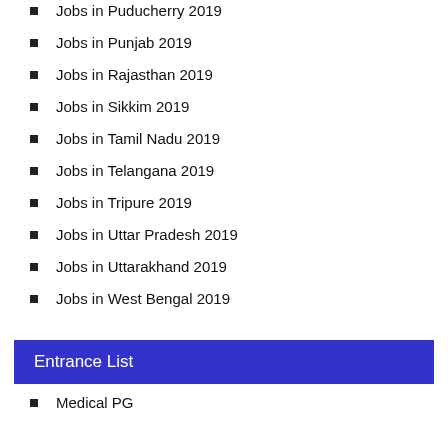Jobs in Puducherry 2019
Jobs in Punjab 2019
Jobs in Rajasthan 2019
Jobs in Sikkim 2019
Jobs in Tamil Nadu 2019
Jobs in Telangana 2019
Jobs in Tripure 2019
Jobs in Uttar Pradesh 2019
Jobs in Uttarakhand 2019
Jobs in West Bengal 2019
Entrance List
Medical PG